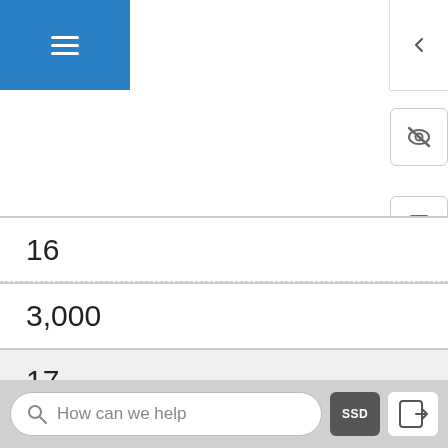[Figure (screenshot): Mobile app UI showing hamburger menu button (blue), collapse arrow icon, eye-slash icon, sticky-note icon, and rows with numeric values 16, 3,000, 17, 2,000 in a list/table view]
16
3,000
17
2,000
How can we help
SSD